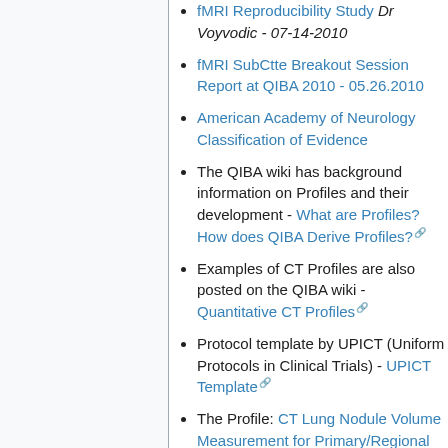fMRI Reproducibility Study Dr Voyvodic - 07-14-2010
fMRI SubCtte Breakout Session Report at QIBA 2010 - 05.26.2010
American Academy of Neurology Classification of Evidence
The QIBA wiki has background information on Profiles and their development - What are Profiles? How does QIBA Derive Profiles?
Examples of CT Profiles are also posted on the QIBA wiki - Quantitative CT Profiles
Protocol template by UPICT (Uniform Protocols in Clinical Trials) - UPICT Template
The Profile: CT Lung Nodule Volume Measurement for Primary/Regional Nodes and Metastatic Sites uses